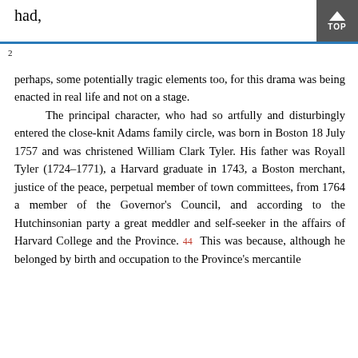had,
2
perhaps, some potentially tragic elements too, for this drama was being enacted in real life and not on a stage.
    The principal character, who had so artfully and disturbingly entered the close-knit Adams family circle, was born in Boston 18 July 1757 and was christened William Clark Tyler. His father was Royall Tyler (1724–1771), a Harvard graduate in 1743, a Boston merchant, justice of the peace, perpetual member of town committees, from 1764 a member of the Governor's Council, and according to the Hutchinsonian party a great meddler and self-seeker in the affairs of Harvard College and the Province. 44 This was because, although he belonged by birth and occupation to the Province's mercantile